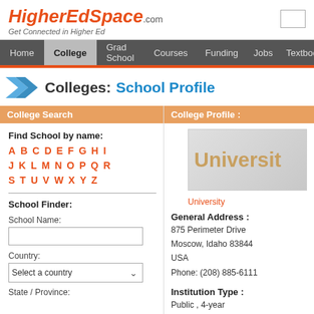HigherEdSpace.com — Get Connected in Higher Ed
Home  College  Grad School  Courses  Funding  Jobs  Textboo...
Colleges: School Profile
College Search
Find School by name: A B C D E F G H I J K L M N O P Q R S T U V W X Y Z
School Finder:
School Name:
Country: Select a country
State / Province:
College Profile :
[Figure (logo): University logo box showing partial text 'Universit' in tan/gold color on grey background]
University
General Address : 875 Perimeter Drive Moscow, Idaho 83844 USA Phone: (208) 885-6111
Institution Type : Public , 4-year
Student Population: